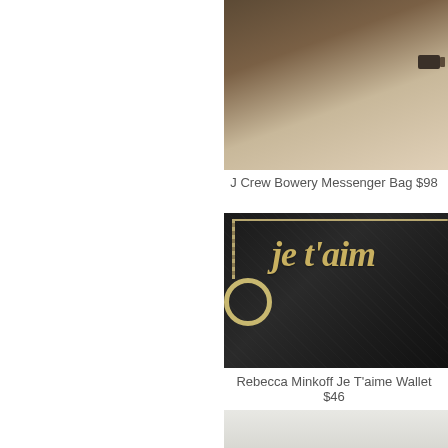[Figure (photo): J Crew Bowery Messenger Bag in brown leather, partial view showing buckle detail, photographed on white background]
J Crew Bowery Messenger Bag $98
[Figure (photo): Rebecca Minkoff Je T'aime Wallet, black textured leather clutch with gold script 'je t'aim' text and gold chain with ring pull, photographed close up]
Rebecca Minkoff Je T'aime Wallet $46
[Figure (photo): Partial view of a third item, light colored, at bottom of page]